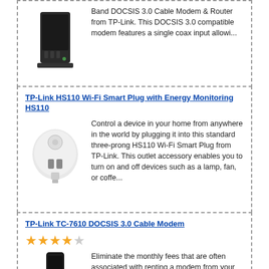Band DOCSIS 3.0 Cable Modem & Router from TP-Link. This DOCSIS 3.0 compatible modem features a single coax input allowi...
TP-Link HS110 Wi-Fi Smart Plug with Energy Monitoring HS110
Control a device in your home from anywhere in the world by plugging it into this standard three-prong HS110 Wi-Fi Smart Plug from TP-Link. This outlet accessory enables you to turn on and off devices such as a lamp, fan, or coffe...
TP-Link TC-7610 DOCSIS 3.0 Cable Modem
Eliminate the monthly fees that are often associated with renting a modem from your cable company with the TC-7610